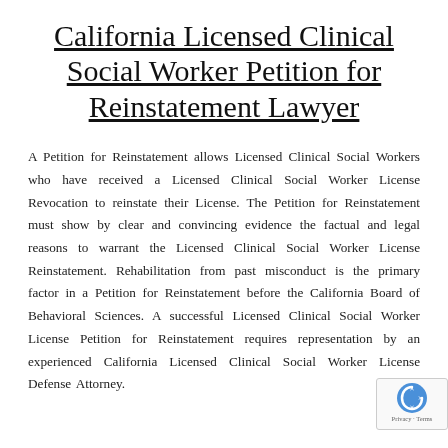California Licensed Clinical Social Worker Petition for Reinstatement Lawyer
A Petition for Reinstatement allows Licensed Clinical Social Workers who have received a Licensed Clinical Social Worker License Revocation to reinstate their License. The Petition for Reinstatement must show by clear and convincing evidence the factual and legal reasons to warrant the Licensed Clinical Social Worker License Reinstatement. Rehabilitation from past misconduct is the primary factor in a Petition for Reinstatement before the California Board of Behavioral Sciences. A successful Licensed Clinical Social Worker License Petition for Reinstatement requires representation by an experienced California Licensed Clinical Social Worker License Defense Attorney.